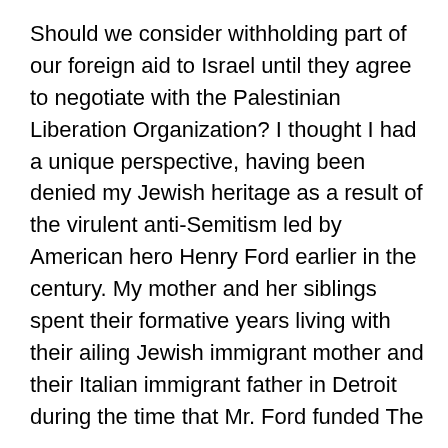Should we consider withholding part of our foreign aid to Israel until they agree to negotiate with the Palestinian Liberation Organization? I thought I had a unique perspective, having been denied my Jewish heritage as a result of the virulent anti-Semitism led by American hero Henry Ford earlier in the century. My mother and her siblings spent their formative years living with their ailing Jewish immigrant mother and their Italian immigrant father in Detroit during the time that Mr. Ford funded The Dearborn Independent, a scurrilous weekly rag that spewed anti-Jewish rhetoric. The fear and shame generated in my family by the anti-Semitism was so poweful, that when their mother died at an early age, my mother and her siblings buried our Jewish heritage along with my grandmother. Thirty plus years later, when, as a child, I asked my mother what nationality we were,